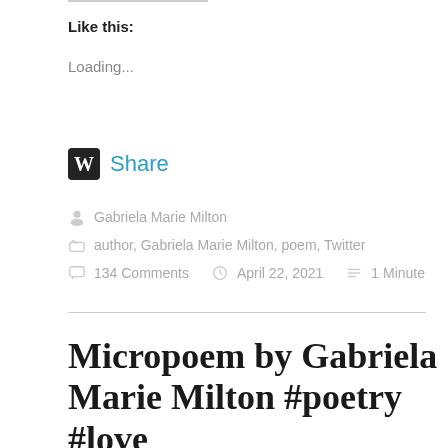Like this:
Loading...
Share
Gabriela Marie Milton
author, Gabriela Marie Milton, poem, Twitter
134 Comments   April 22, 2021   1 Minute
Micropoem by Gabriela Marie Milton #poetry #love